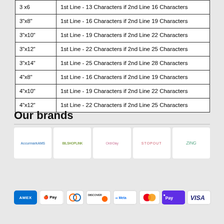| Size | Character Limits |
| --- | --- |
| 3 x6 | 1st Line - 13 Characters if 2nd Line 16 Characters |
| 3"x8" | 1st Line - 16 Characters if 2nd Line 19 Characters |
| 3"x10" | 1st Line - 19 Characters if 2nd Line 22 Characters |
| 3"x12" | 1st Line - 22 Characters if 2nd Line 25 Characters |
| 3"x14" | 1st Line - 25 Characters if 2nd Line 28 Characters |
| 4"x8" | 1st Line - 16 Characters if 2nd Line 19 Characters |
| 4"x10" | 1st Line - 19 Characters if 2nd Line 22 Characters |
| 4"x12" | 1st Line - 22 Characters if 2nd Line 25 Characters |
Our brands
[Figure (logo): Five brand logos: AccumarkAMS, BilShopLink, Ordi-Day, STOPOUT, ZING]
[Figure (infographic): Payment method icons: AMEX, Apple Pay, Diners Club, Discover, Meta, Mastercard, G Pay, VISA]